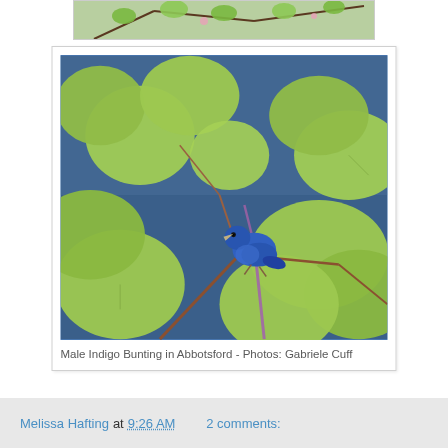[Figure (photo): Partial top of a bird photo — branches with green leaves and pink flowers visible]
[Figure (photo): Male Indigo Bunting bird perched on a branch with large green leaves, against a dark blue sky background, in Abbotsford]
Male Indigo Bunting in Abbotsford - Photos: Gabriele Cuff
Melissa Hafting at 9:26 AM   2 comments: